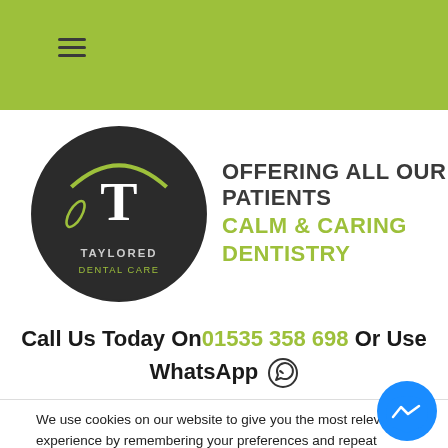Taylored Dental Care website header with hamburger menu
[Figure (logo): Taylored Dental Care circular logo with T letter and tagline OFFERING ALL OUR PATIENTS CALM & CARING DENTISTRY]
Call Us Today On 01535 358 698 Or Use WhatsApp
We use cookies on our website to give you the most relevant experience by remembering your preferences and repeat visits. By clicking "Accept All", you consent to the use of ALL the cookies. However, you may visit "Cookie Settings" to provide a controlled consent.
Cookie Settings | Accept All